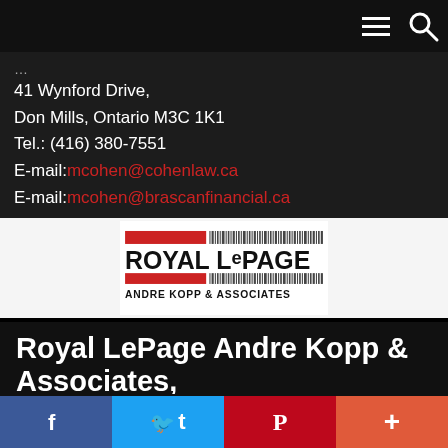Navigation bar with menu and search icons
41 Wynford Drive,
Don Mills, Ontario M3C 1K1
Tel.: (416) 380-7551
E-mail: mcohen@cohenlaw.ca
E-mail: mcohen@brascanfinancial.ca
[Figure (logo): Royal LePage Andre Kopp & Associates logo]
Royal LePage Andre Kopp & Associates, Brokerage
(Independently owned and operated)
Social share bar: Facebook, Twitter, Pinterest, Plus